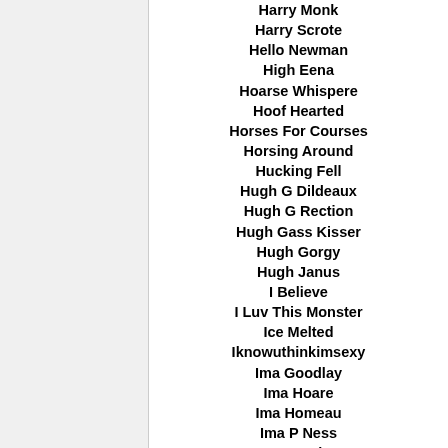Harry Monk
Harry Scrote
Hello Newman
High Eena
Hoarse Whispere
Hoof Hearted
Horses For Courses
Horsing Around
Hucking Fell
Hugh G Dildeaux
Hugh G Rection
Hugh Gass Kisser
Hugh Gorgy
Hugh Janus
I Believe
I Luv This Monster
Ice Melted
Iknowuthinkimsexy
Ima Goodlay
Ima Hoare
Ima Homeau
Ima P Ness
Ima Rapist
Ima Reillycumming